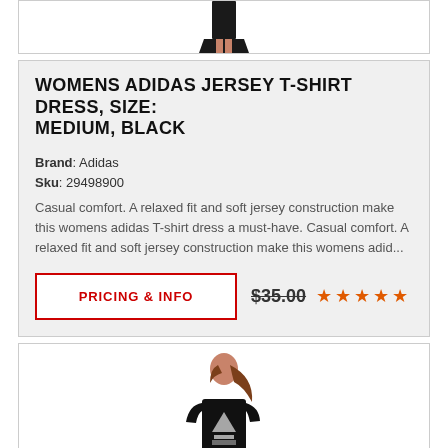[Figure (photo): Bottom portion of a black dress/clothing item on white background]
WOMENS ADIDAS JERSEY T-SHIRT DRESS, SIZE: MEDIUM, BLACK
Brand: Adidas
Sku: 29498900
Casual comfort. A relaxed fit and soft jersey construction make this womens adidas T-shirt dress a must-have. Casual comfort. A relaxed fit and soft jersey construction make this womens adid...
PRICING & INFO
$35.00
[Figure (photo): Woman wearing a black Adidas t-shirt with white Adidas logo]